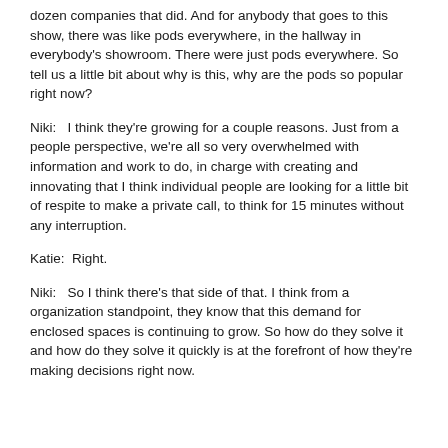dozen companies that did. And for anybody that goes to this show, there was like pods everywhere, in the hallway in everybody's showroom. There were just pods everywhere. So tell us a little bit about why is this, why are the pods so popular right now?
Niki:   I think they're growing for a couple reasons. Just from a people perspective, we're all so very overwhelmed with information and work to do, in charge with creating and innovating that I think individual people are looking for a little bit of respite to make a private call, to think for 15 minutes without any interruption.
Katie:  Right.
Niki:   So I think there's that side of that. I think from a organization standpoint, they know that this demand for enclosed spaces is continuing to grow. So how do they solve it and how do they solve it quickly is at the forefront of how they're making decisions right now.